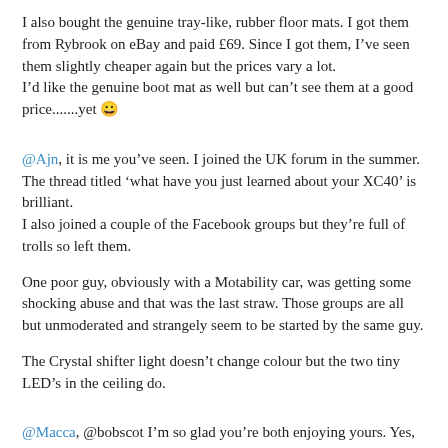I also bought the genuine tray-like, rubber floor mats. I got them from Rybrook on eBay and paid £69. Since I got them, I've seen them slightly cheaper again but the prices vary a lot.
I'd like the genuine boot mat as well but can't see them at a good price.......yet 😀
@Ajn, it is me you've seen. I joined the UK forum in the summer. The thread titled 'what have you just learned about your XC40' is brilliant.
I also joined a couple of the Facebook groups but they're full of trolls so left them.
One poor guy, obviously with a Motability car, was getting some shocking abuse and that was the last straw. Those groups are all but unmoderated and strangely seem to be started by the same guy.
The Crystal shifter light doesn't change colour but the two tiny LED's in the ceiling do.
@Macca, @bobscot I'm so glad you're both enjoying yours. Yes, it seems a bit daft. I'm just hoping it's a bad batch but I doubt the dealer will fix. Imagine the cost to